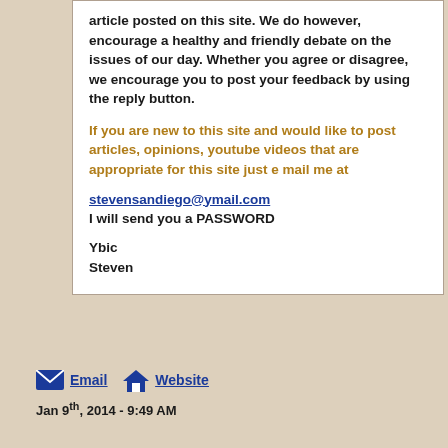article posted on this site. We do however, encourage a healthy and friendly debate on the issues of our day. Whether you agree or disagree, we encourage you to post your feedback by using the reply button.
If you are new to this site and would like to post articles, opinions, youtube videos that are appropriate for this site just e mail me at
stevensandiego@ymail.com
I will send you a PASSWORD

Ybic
Steven
Email   Website
Jan 9th, 2014 - 9:49 AM